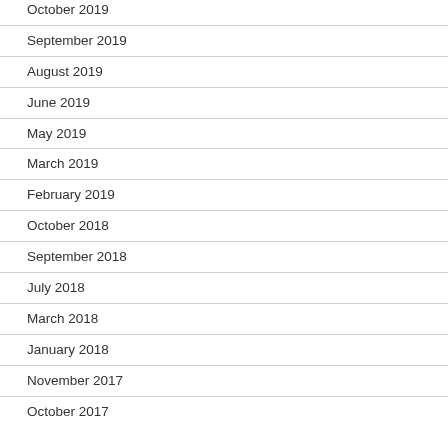October 2019
September 2019
August 2019
June 2019
May 2019
March 2019
February 2019
October 2018
September 2018
July 2018
March 2018
January 2018
November 2017
October 2017